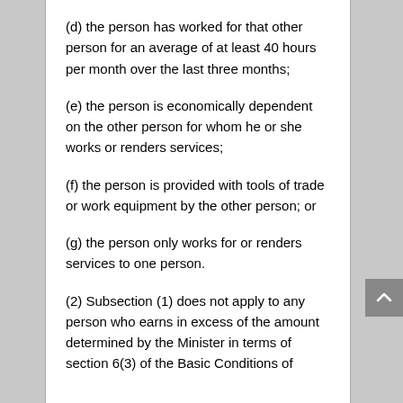(d) the person has worked for that other person for an average of at least 40 hours per month over the last three months;
(e) the person is economically dependent on the other person for whom he or she works or renders services;
(f) the person is provided with tools of trade or work equipment by the other person; or
(g) the person only works for or renders services to one person.
(2) Subsection (1) does not apply to any person who earns in excess of the amount determined by the Minister in terms of section 6(3) of the Basic Conditions of